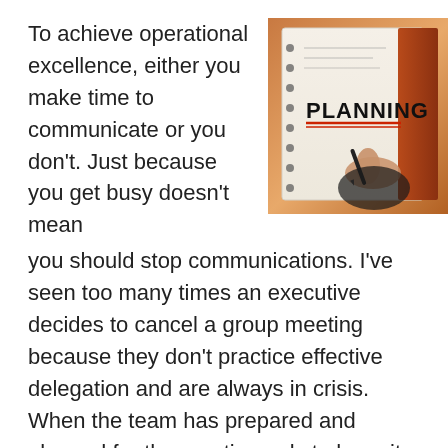To achieve operational excellence, either you make time to communicate or you don't. Just because you get busy doesn't mean you should stop communications. I've seen too many times an executive decides to cancel a group meeting because they don't practice effective delegation and are always in crisis. When the team has prepared and planned for the meeting only to have it canceled at the last hour, this trickles down and disrupts everyone's sense of time management.
[Figure (photo): A hand writing 'PLANNING' in a notebook, with a pen, warm-toned background.]